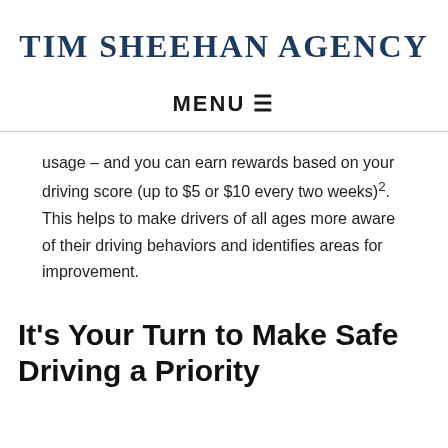TIM SHEEHAN AGENCY
MENU ☰
usage – and you can earn rewards based on your driving score (up to $5 or $10 every two weeks)². This helps to make drivers of all ages more aware of their driving behaviors and identifies areas for improvement.
It's Your Turn to Make Safe Driving a Priority